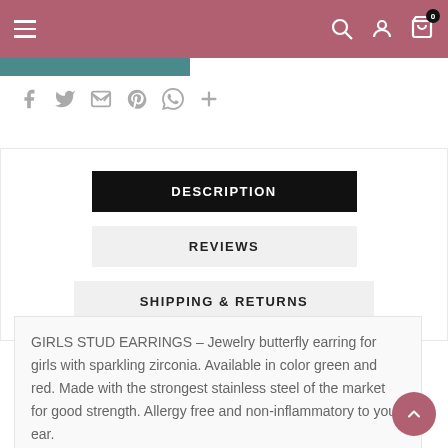Navigation header with hamburger menu, search, account, and cart icons
[Figure (screenshot): Teal/blue-green colored button strip]
[Figure (infographic): Social share icons: Facebook, Twitter, Email, Pinterest, WhatsApp, Plus]
DESCRIPTION
REVIEWS
SHIPPING & RETURNS
GIRLS STUD EARRINGS – Jewelry butterfly earring for girls with sparkling zirconia. Available in color green and red. Made with the strongest stainless steel of the market for good strength. Allergy free and non-inflammatory to your ear.